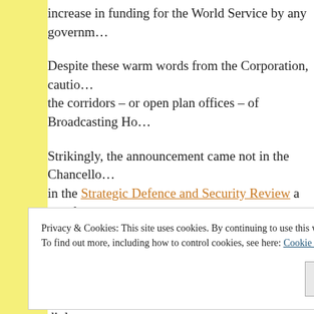increase in funding for the World Service by any government.
Despite these warm words from the Corporation, caution stalks the corridors – or open plan offices – of Broadcasting Ho...
Strikingly, the announcement came not in the Chancellor’s... in the Strategic Defence and Security Review a couple o...
What has the World Service got to do with security and d...
The answer lies in politics and international diplomacy.
Privacy & Cookies: This site uses cookies. By continuing to use this website, you agree to their use.
To find out more, including how to control cookies, see here: Cookie Policy
Close and accept
the people they meet say complimentary things about ...